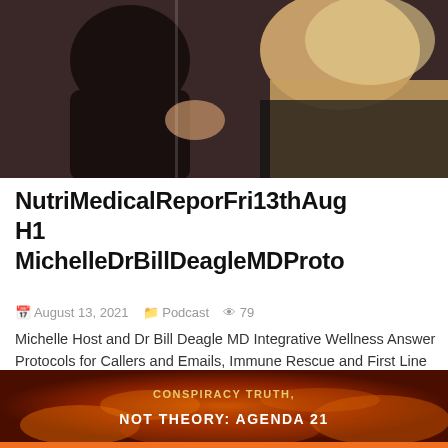[Figure (photo): Photo of two people, appearing to be a man and woman, partially cropped at the top of the page]
NutriMedicalReporFri13thAug H1 MichelleDrBillDeagleMDProto
August 13, 2021   Podcast   79
Michelle Host and Dr Bill Deagle MD Integrative Wellness Answer Protocols for Callers and Emails, Immune Rescue and First Line of Defense COVID19 and Delta Strains, Biden Lies Green Zonens Civil Detention Camps, END of Biden Need to IMPEACH, TRUMP Soon Back in White House, Sprit Call to Reveal Final Battles in Families and USA...
[Figure (photo): Bottom image with text reading CONSPIRACY TRUTH, NOT THEORY: AGENDA 21 on a fiery background]